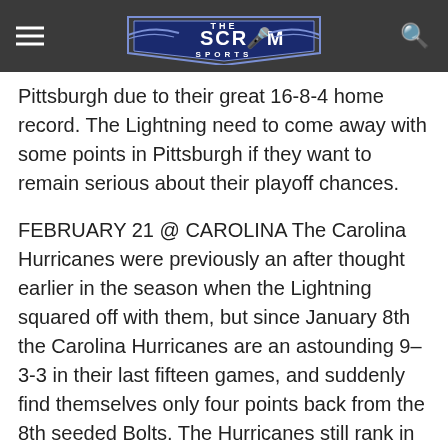THE SCRUM SPORTS
…Lightning gets the same challenge against Pittsburgh due to their great 16-8-4 home record. The Lightning need to come away with some points in Pittsburgh if they want to remain serious about their playoff chances.
FEBRUARY 21 @ CAROLINA The Carolina Hurricanes were previously an after thought earlier in the season when the Lightning squared off with them, but since January 8th the Carolina Hurricanes are an astounding 9–3-3 in their last fifteen games, and suddenly find themselves only four points back from the 8th seeded Bolts. The Hurricanes still rank in the bottom half or bottom third of most major ensive and defensive statistical categories but y've started to win a lot of one goal games or at